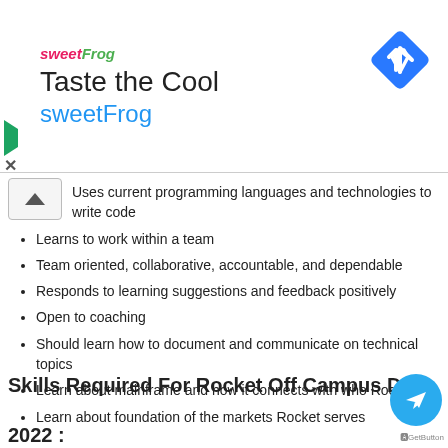[Figure (logo): sweetFrog advertisement banner with logo, 'Taste the Cool' heading, 'sweetFrog' brand name in blue, and a blue diamond navigation icon]
Uses current programming languages and technologies to write code
Learns to work within a team
Team oriented, collaborative, accountable, and dependable
Responds to learning suggestions and feedback positively
Open to coaching
Should learn how to document and communicate on technical topics
Learn about mainframe and how it connects with who Rocket is
Learn about foundation of the markets Rocket serves
Skills Required For Rocket Off Campus Drive 2022 :